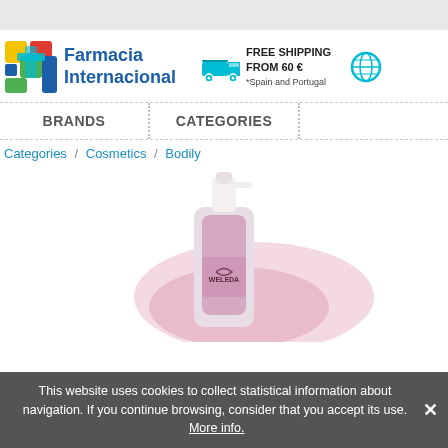[Figure (logo): Farmacia Internacional logo with colorful cross made of colored squares (yellow, red, green, blue) and bold blue text 'Farmacia Internacional']
FREE SHIPPING FROM 60 € *Spain and Portugal
[Figure (illustration): Cyan/blue truck icon representing free shipping]
[Figure (illustration): Cyan/blue globe icon]
BRANDS
CATEGORIES
Categories / Cosmetics / Bodily
[Figure (photo): A cosmetic product bottle (WELEDA brand) with pink/purple coloring and a white pump top, against a white background with pink cream/lotion visible]
This website uses cookies to collect statistical information about navigation. If you continue browsing, consider that you accept its use.  More info.